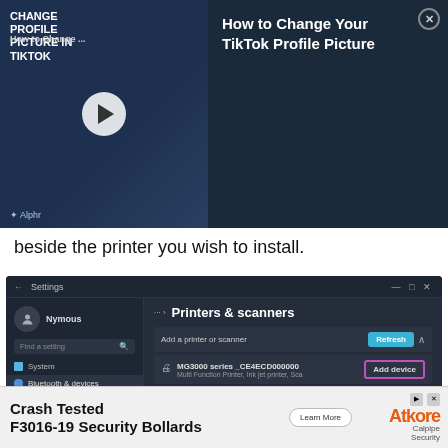[Figure (screenshot): Video overlay banner for 'How to Change Your TikTok Profile Picture' with thumbnail on left and title/close button on right, dark navy background, Alphr branding]
beside the printer you wish to install.
[Figure (screenshot): Windows 11 Settings screenshot showing Printers & scanners page with a Canon MG3000 series printer listed with an 'Add device' button highlighted in pink/magenta border, Refresh button in blue, and list of other printers below]
[Figure (screenshot): Advertisement banner: 'Crash Tested F3016-19 Security Bollards' with Atkore Calpipe Security branding and Learn More button]